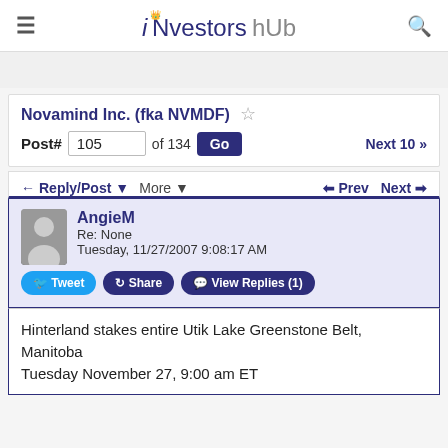iNvestorsHub
Novamind Inc. (fka NVMDF)
Post# 105 of 134  Go  Next 10 >>
Reply/Post  More  Prev  Next
AngieM
Re: None
Tuesday, 11/27/2007 9:08:17 AM
Hinterland stakes entire Utik Lake Greenstone Belt, Manitoba
Tuesday November 27, 9:00 am ET